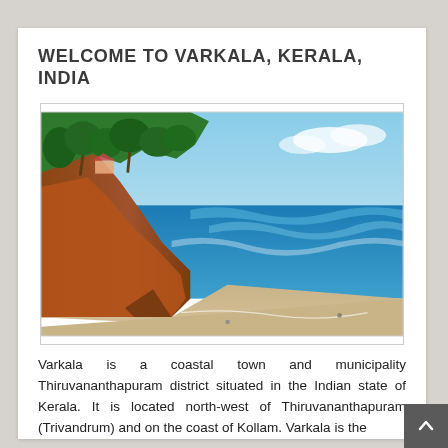WELCOME TO VARKALA, KERALA, INDIA
[Figure (photo): Coastal view of Varkala, Kerala, India — red laterite cliffs covered with lush green vegetation on the left, a sandy beach curving along the Arabian Sea with blue waves in the right background.]
Varkala is a coastal town and municipality Thiruvananthapuram district situated in the Indian state of Kerala. It is located north-west of Thiruvananthapuram (Trivandrum) and on the coast of Kollam. Varkala is the